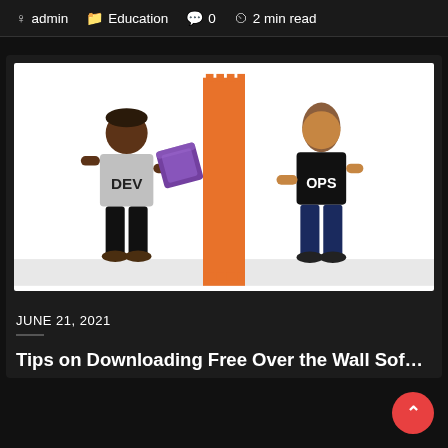admin   Education   0   2 min read
[Figure (illustration): Illustration of DevOps 'Wall of Confusion': a developer (DEV) on the left holding a purple package, separated from an operations person (OPS) on the right by an orange vertical wall labeled 'WALL OF CONFUSION']
JUNE 21, 2021
Tips on Downloading Free Over the Wall Sof…